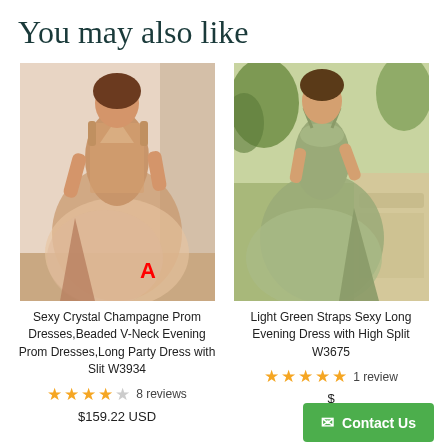You may also like
[Figure (photo): Model wearing a sexy crystal champagne prom dress with beaded V-neck and high slit, labeled A]
[Figure (photo): Model wearing a light green straps sexy long evening dress with high split outdoors]
Sexy Crystal Champagne Prom Dresses,Beaded V-Neck Evening Prom Dresses,Long Party Dress with Slit W3934
Light Green Straps Sexy Long Evening Dress with High Split W3675
★★★★☆ 8 reviews
★★★★★ 1 review
$159.22 USD